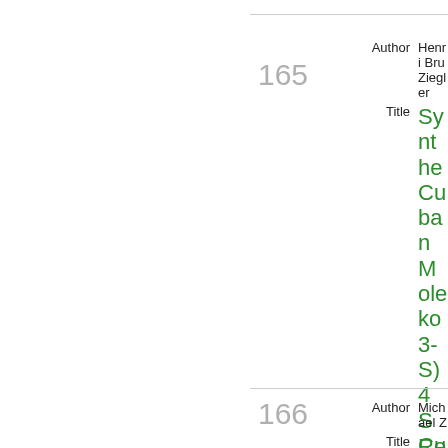165
Author: Henri Bru... Ziegler
Synthe... Cuban... Moleko... 3-S)4 S... Cuban... Molec... (C5Me...
Abstract: The reac... Ph, O M e...
Reference: Z. Naturf...
Published: 1985
Keywords: H eterom...
Similar Items: Find
166
Author: Michael Z...
Reacti...